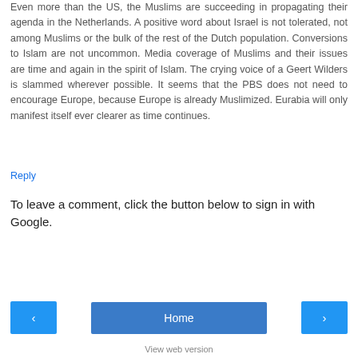Even more than the US, the Muslims are succeeding in propagating their agenda in the Netherlands. A positive word about Israel is not tolerated, not among Muslims or the bulk of the rest of the Dutch population. Conversions to Islam are not uncommon. Media coverage of Muslims and their issues are time and again in the spirit of Islam. The crying voice of a Geert Wilders is slammed wherever possible. It seems that the PBS does not need to encourage Europe, because Europe is already Muslimized. Eurabia will only manifest itself ever clearer as time continues.
Reply
To leave a comment, click the button below to sign in with Google.
SIGN IN WITH GOOGLE
Home
View web version